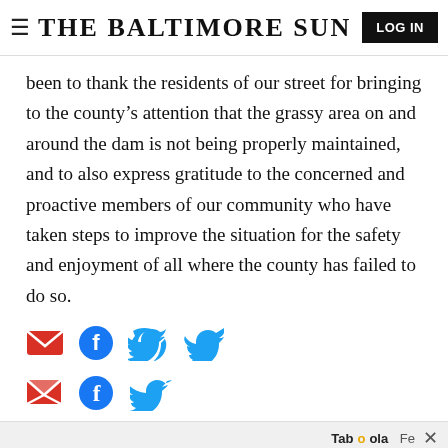THE BALTIMORE SUN
been to thank the residents of our street for bringing to the county's attention that the grassy area on and around the dam is not being properly maintained, and to also express gratitude to the concerned and proactive members of our community who have taken steps to improve the situation for the safety and enjoyment of all where the county has failed to do so.
[Figure (infographic): Social sharing icons: email (red envelope), Facebook (blue circle with f), Twitter (blue bird)]
Taboola Feed ×
ADVERTISEMENT